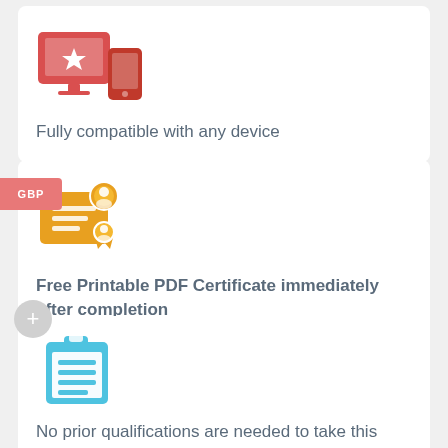[Figure (illustration): Red/coral icon showing a desktop monitor with a star and a mobile phone, representing multi-device compatibility]
Fully compatible with any device
[Figure (illustration): Yellow/orange icon showing a certificate with lines and a seal/badge, representing a printable PDF certificate]
Free Printable PDF Certificate immediately after completion
[Figure (illustration): Blue icon showing a clipboard with horizontal lines, representing qualifications/requirements]
No prior qualifications are needed to take this course